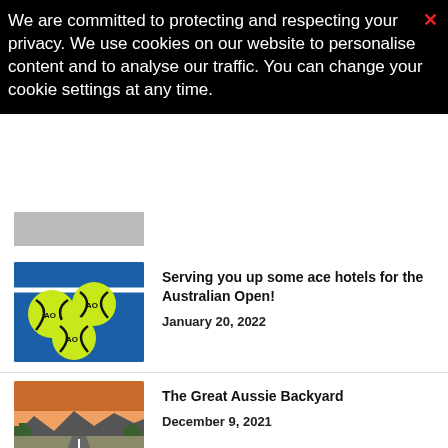We are committed to protecting and respecting your privacy. We use cookies on our website to personalise content and to analyse our traffic. You can change your cookie settings at any time.
[Figure (photo): Australian Open branded tennis balls on a blue court surface]
Serving you up some ace hotels for the Australian Open!
January 20, 2022
[Figure (photo): Empty road stretching into the distance with mountains and sunset sky]
The Great Aussie Backyard
December 9, 2021